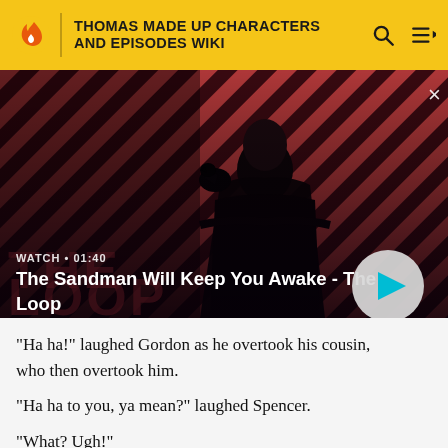THOMAS MADE UP CHARACTERS AND EPISODES WIKI
[Figure (screenshot): Video thumbnail showing a dark-cloaked figure with a raven on shoulder against a red and black diagonal striped background. Text overlay reads WATCH • 01:40. Title: The Sandman Will Keep You Awake - The Loop. Play button visible on right.]
"Ha ha!" laughed Gordon as he overtook his cousin, who then overtook him.
"Ha ha to you, ya mean?" laughed Spencer.
"What? Ugh!"